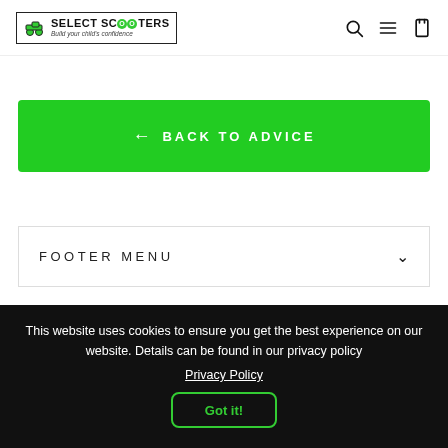SELECT SCOOTERS — Build your child's confidence
← BACK TO ADVICE
FOOTER MENU
This website uses cookies to ensure you get the best experience on our website. Details can be found in our privacy policy
Privacy Policy
Got it!